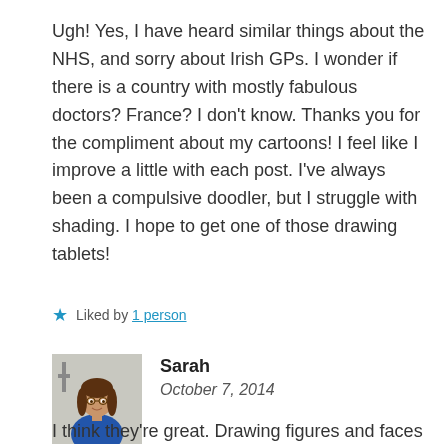Ugh! Yes, I have heard similar things about the NHS, and sorry about Irish GPs. I wonder if there is a country with mostly fabulous doctors? France? I don't know. Thanks you for the compliment about my cartoons! I feel like I improve a little with each post. I've always been a compulsive doodler, but I struggle with shading. I hope to get one of those drawing tablets!
★ Liked by 1 person
Sarah
October 7, 2014
[Figure (photo): Profile photo of Sarah, a woman with brown hair, wearing a blue top, standing indoors]
I think they're great. Drawing figures and faces